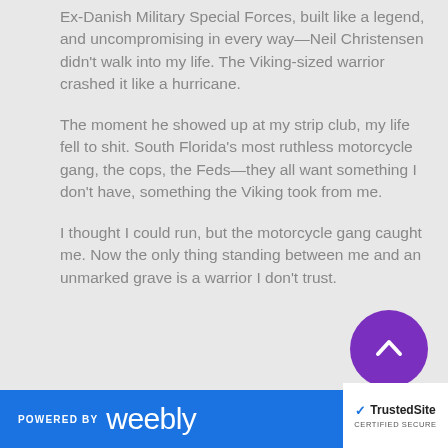Ex-Danish Military Special Forces, built like a legend, and uncompromising in every way—Neil Christensen didn't walk into my life. The Viking-sized warrior crashed it like a hurricane.
The moment he showed up at my strip club, my life fell to shit. South Florida's most ruthless motorcycle gang, the cops, the Feds—they all want something I don't have, something the Viking took from me.
I thought I could run, but the motorcycle gang caught me. Now the only thing standing between me and an unmarked grave is a warrior I don't trust.
POWERED BY weebly | TrustedSite CERTIFIED SECURE